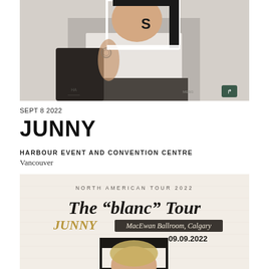[Figure (photo): Photo of JUNNY (Korean singer) sitting casually, wearing a white t-shirt and dark pants, with tattoos visible, holding a bag. Black and white frame graphic overlay. Watermark logos visible at bottom corners.]
SEPT 8 2022
JUNNY
HARBOUR EVENT AND CONVENTION CENTRE
Vancouver
[Figure (illustration): Concert poster for JUNNY North American Tour 2022 'The blanc Tour'. Text reads: NORTH AMERICAN TOUR 2022, The "blanc" Tour, JUNNY, MacEwan Ballroom, Calgary, 09.09.2022. Features photo of JUNNY with dark frame graphic overlay on beige/cream background.]